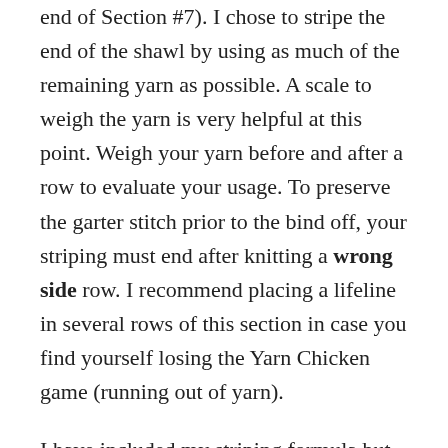end of Section #7). I chose to stripe the end of the shawl by using as much of the remaining yarn as possible. A scale to weigh the yarn is very helpful at this point. Weigh your yarn before and after a row to evaluate your usage. To preserve the garter stitch prior to the bind off, your striping must end after knitting a wrong side row. I recommend placing a lifeline in several rows of this section in case you find yourself losing the Yarn Chicken game (running out of yarn).
I have included my striping formula but this is just a guideline. You may have more or less yarn and any striping design is perfectly acceptable. I am looking forward to seeing